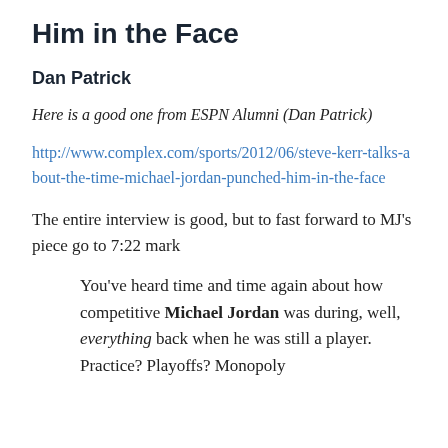Him in the Face
Dan Patrick
Here is a good one from ESPN Alumni (Dan Patrick)
http://www.complex.com/sports/2012/06/steve-kerr-talks-about-the-time-michael-jordan-punched-him-in-the-face
The entire interview is good, but to fast forward to MJ’s piece go to 7:22 mark
You’ve heard time and time again about how competitive Michael Jordan was during, well, everything back when he was still a player. Practice? Playoffs? Monopoly